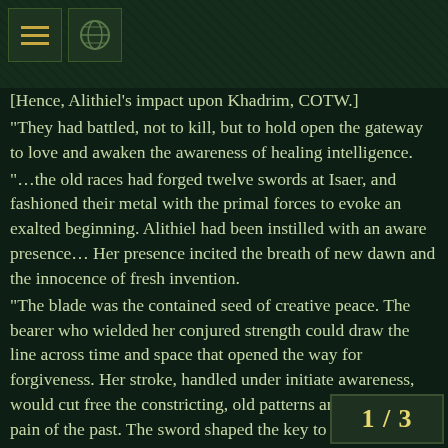[Figure (screenshot): Dark fantasy game UI header with two icon buttons (menu lines icon and a circular/globe icon) on a dark green textured background]
[Hence, Alithiel's impact upon Khadrim, COTW.]
"They had battled, not to kill, but to hold open the gateway to love and awaken the awareness of healing intelligence.
"…the old races had forged twelve swords at Isaer, and fashioned their metal with the primal forces to evoke an exalted beginning. Alithiel had been instilled with an aware presence… Her presence incited the breath of new dawn and the innocence of fresh invention.
"The blade was the contained seed of creative peace. The bearer who wielded her conjured strength could draw the line across time and space that opened the way for forgiveness. Her stroke, handled under initiate awareness, would cut free the constricting, old patterns and unbind the pain of the past. The sword shaped the key to open the mind:
that the flow of water could nourish;
fire could burn the residual debris and sp
1 / 3